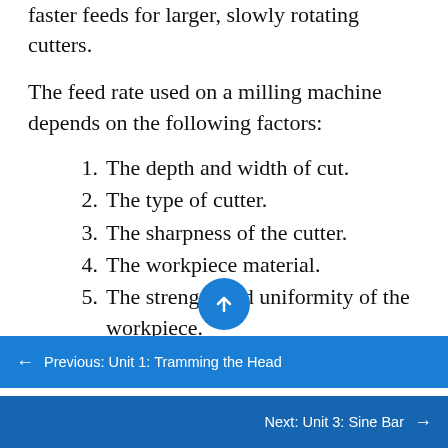faster feeds for larger, slowly rotating cutters.
The feed rate used on a milling machine depends on the following factors:
1. The depth and width of cut.
2. The type of cutter.
3. The sharpness of the cutter.
4. The workpiece material.
5. The strength and uniformity of the workpiece.
6. The finish required.
7. The accuracy required.
8. The power and rigidity of the machine, the
← Previous: Unit 1: Tramming the Head
Next: Unit 3: Sine Bar →